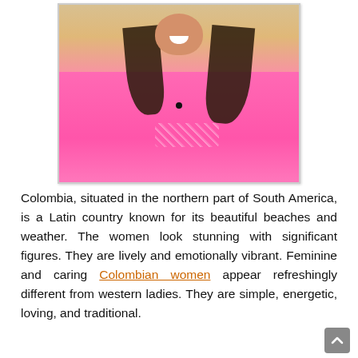[Figure (photo): A woman with dark hair wearing a pink top, smiling. Portrait-style webcam photo with a yellowish background.]
Colombia, situated in the northern part of South America, is a Latin country known for its beautiful beaches and weather. The women look stunning with significant figures. They are lively and emotionally vibrant. Feminine and caring Colombian women appear refreshingly different from western ladies. They are simple, energetic, loving, and traditional.